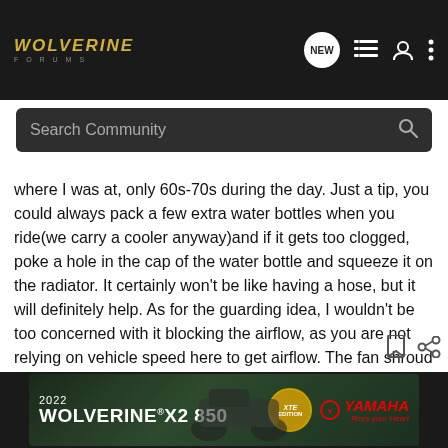Wolverine Forums – navigation bar with logo, NEW bubble, list icon, user icon, more icon
Search Community
where I was at, only 60s-70s during the day. Just a tip, you could always pack a few extra water bottles when you ride(we carry a cooler anyway)and if it gets too clogged, poke a hole in the cap of the water bottle and squeeze it on the radiator. It certainly won't be like having a hose, but it will definitely help. As for the guarding idea, I wouldn't be too concerned with it blocking the airflow, as you are not relying on vehicle speed here to get airflow. The fan shroud is designed to flow an adequate amount of air while the vehicle is parked, so as long as the guarding is not right up against the radiator, you should be just fine.
[Figure (photo): 2022 Wolverine X2 850 Yamaha advertisement banner showing ATV in forest setting with XTR Edition badge and Yamaha logo]